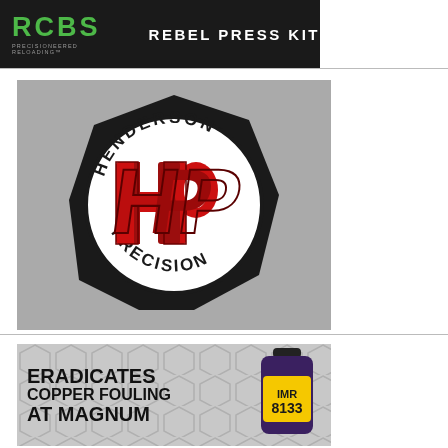[Figure (logo): RCBS Precisioneered Reloading logo with green RCBS text on black background, followed by 'REBEL PRESS KIT' in white bold text]
[Figure (logo): Henderson Precision logo: black octagon shape with white circle inside, red stylized HP letters in center, 'HENDERSON' text arcing top and 'PRECISION' arcing bottom in black, on gray background]
[Figure (illustration): IMR 8133 advertisement with text 'ERADICATES COPPER FOULING AT MAGNUM' in bold black letters on gray hexagon-patterned background, with IMR 8133 purple canister on right side]